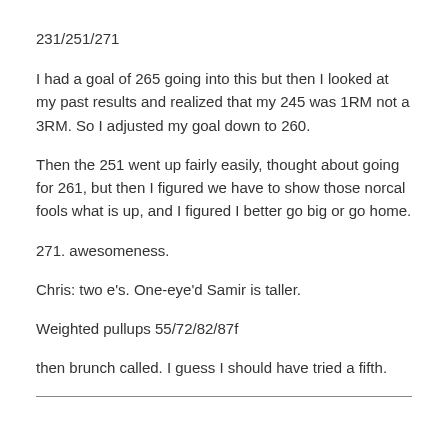231/251/271
I had a goal of 265 going into this but then I looked at my past results and realized that my 245 was 1RM not a 3RM. So I adjusted my goal down to 260.
Then the 251 went up fairly easily, thought about going for 261, but then I figured we have to show those norcal fools what is up, and I figured I better go big or go home.
271. awesomeness.
Chris: two e's. One-eye'd Samir is taller.
Weighted pullups 55/72/82/87f
then brunch called. I guess I should have tried a fifth.